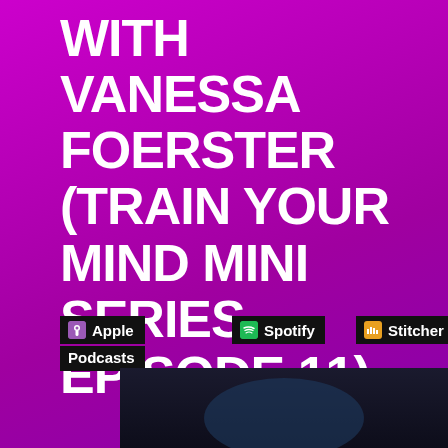WITH VANESSA FOERSTER (TRAIN YOUR MIND MINI SERIES EPISODE 11)
[Figure (logo): Apple Podcasts badge - black rectangle with purple podcast icon and text 'Apple Podcasts']
[Figure (logo): Spotify badge - black rectangle with green Spotify icon and text 'Spotify']
[Figure (logo): Stitcher badge - black rectangle with orange Stitcher icon and text 'Stitcher']
[Figure (photo): Dark photo partially visible at the bottom of the page]